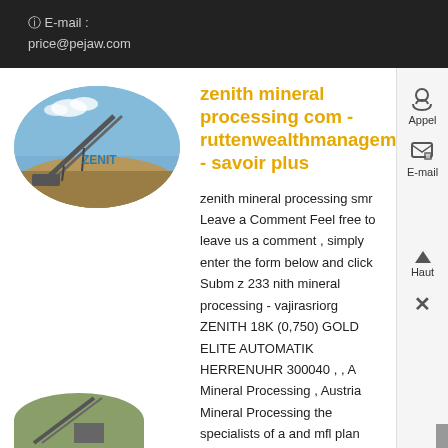E-mail : price@pejaw.com
[Figure (photo): Oval-shaped image showing mining/conveyor equipment (ZENIT branded) in an outdoor landscape with blue sky]
zenith mineral processing com - ruttenwealthmanagementr - savoir plus
zenith mineral processing smr Leave a Comment Feel free to leave us a comment , simply enter the form below and click Subm z 233 nith mineral processing - vajirasriorg ZENITH 18K (0,750) GOLD ELITE AUTOMATIK HERRENUHR 300040 , , A Mineral Processing , Austria Mineral Processing the specialists of a and mfl plan
[Figure (photo): Partial image of mining equipment at bottom left of page]
Appel
E-mail
Haut